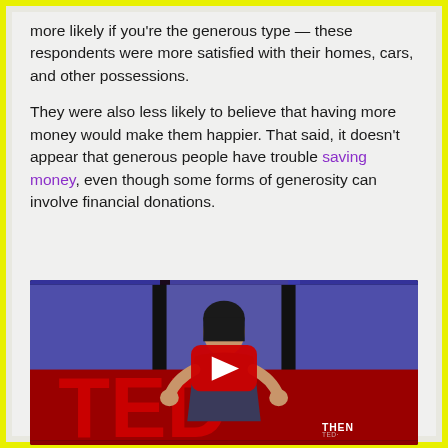more likely if you're the generous type — these respondents were more satisfied with their homes, cars, and other possessions.
They were also less likely to believe that having more money would make them happier. That said, it doesn't appear that generous people have trouble saving money, even though some forms of generosity can involve financial donations.
[Figure (screenshot): YouTube video thumbnail showing a TED talk speaker (Asian woman in dark sleeveless dress) on a TED stage with red TED letters and blue decorative panels in background. A large YouTube play button is overlaid in the center.]